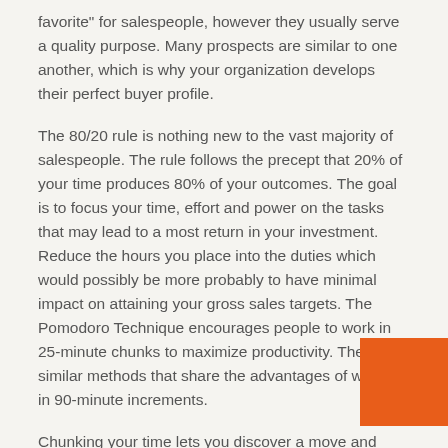favorite" for salespeople, however they usually serve a quality purpose. Many prospects are similar to one another, which is why your organization develops their perfect buyer profile.
The 80/20 rule is nothing new to the vast majority of salespeople. The rule follows the precept that 20% of your time produces 80% of your outcomes. The goal is to focus your time, effort and power on the tasks that may lead to a most return in your investment. Reduce the hours you place into the duties which would possibly be more probably to have minimal impact on attaining your gross sales targets. The Pomodoro Technique encourages people to work in 25-minute chunks to maximize productivity. There are similar methods that share the advantages of working in 90-minute increments.
Chunking your time lets you discover a move and squeeze essentially the most productiveness out of every single day. Todoist, a to-do list app, uses AI to study your private productivity habits and schedule your most productive time...